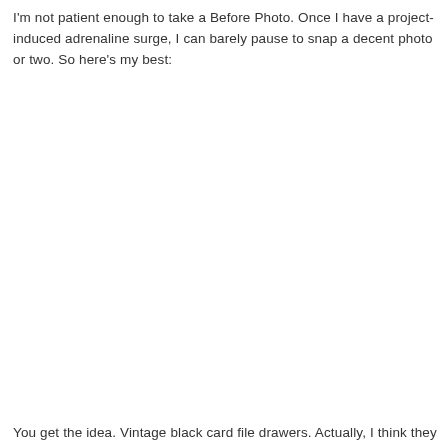I'm not patient enough to take a Before Photo. Once I have a project-induced adrenaline surge, I can barely pause to snap a decent photo or two. So here's my best:
[Figure (photo): Blank white space representing an image placeholder (before photo not shown)]
You get the idea. Vintage black card file drawers. Actually, I think they